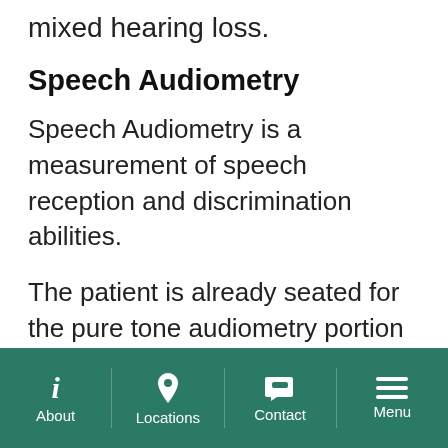mixed hearing loss.
Speech Audiometry
Speech Audiometry is a measurement of speech reception and discrimination abilities.
The patient is already seated for the pure tone audiometry portion of the hearing test. Through the inserted earphones or headphones, the patient will hear words descending in loudness and is asked to repeat each word or take a guess if the
About | Locations | Contact | Menu